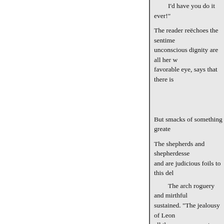I'd have you do it ever!"
The reader reëchoes the sentiments: unconscious dignity are all her w… favorable eye, says that there is
But smacks of something greater
The shepherds and shepherdesses and are judicious foils to this del
The arch roguery and mirthful sustained. "The jealousy of Leon all the causes, symptoms, and gr frenzy. It is a passion which does has the same intemperate course revengeful cruelty; at which, un committed than repented of.
The patient and affecting resi anguish, and the zealous and cou Shakspeare upon them. Indeed l most skilful of his contemporar